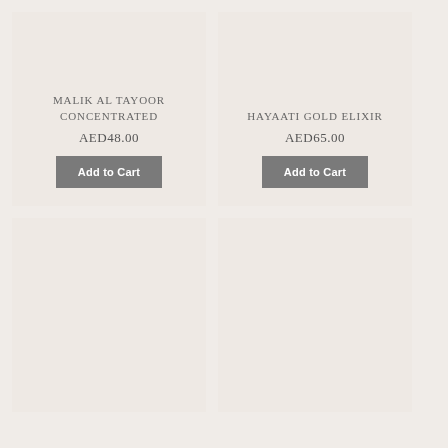MALIK AL TAYOOR CONCENTRATED
AED48.00
Add to Cart
HAYAATI GOLD ELIXIR
AED65.00
Add to Cart
[Figure (other): Empty product card placeholder bottom-left]
[Figure (other): Empty product card placeholder bottom-right]